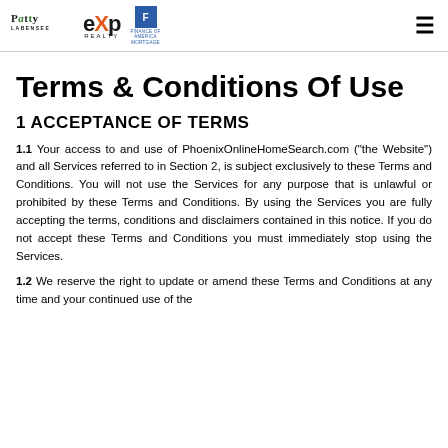Patty LaBensee | eXp Realty | Finance of America Mortgage
Terms & Conditions Of Use
1 ACCEPTANCE OF TERMS
1.1 Your access to and use of PhoenixOnlineHomeSearch.com ("the Website") and all Services referred to in Section 2, is subject exclusively to these Terms and Conditions. You will not use the Services for any purpose that is unlawful or prohibited by these Terms and Conditions. By using the Services you are fully accepting the terms, conditions and disclaimers contained in this notice. If you do not accept these Terms and Conditions you must immediately stop using the Services.
1.2 We reserve the right to update or amend these Terms and Conditions at any time and your continued use of the